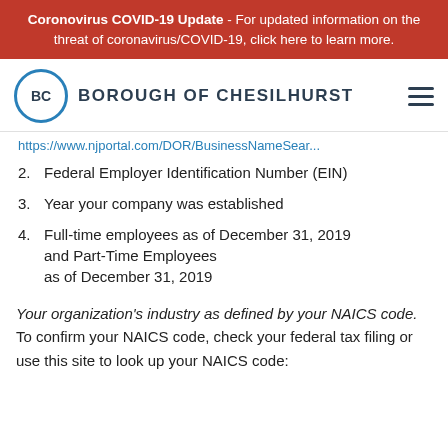Coronovirus COVID-19 Update - For updated information on the threat of coronavirus/COVID-19, click here to learn more.
BOROUGH OF CHESILHURST
https://www.njportal.com/DOR/BusinessNameSear...
2. Federal Employer Identification Number (EIN)
3. Year your company was established
4. Full-time employees as of December 31, 2019 and Part-Time Employees as of December 31, 2019
Your organization's industry as defined by your NAICS code. To confirm your NAICS code, check your federal tax filing or use this site to look up your NAICS code: